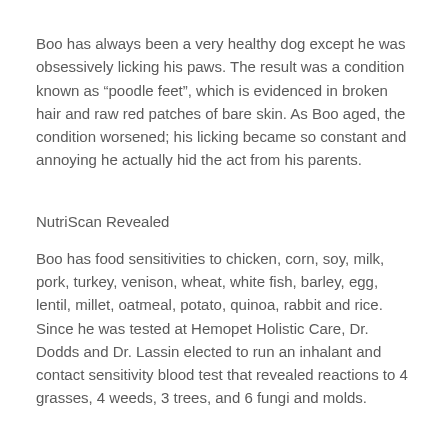Boo has always been a very healthy dog except he was obsessively licking his paws. The result was a condition known as “poodle feet”, which is evidenced in broken hair and raw red patches of bare skin. As Boo aged, the condition worsened; his licking became so constant and annoying he actually hid the act from his parents.
NutriScan Revealed
Boo has food sensitivities to chicken, corn, soy, milk, pork, turkey, venison, wheat, white fish, barley, egg, lentil, millet, oatmeal, potato, quinoa, rabbit and rice. Since he was tested at Hemopet Holistic Care, Dr. Dodds and Dr. Lassin elected to run an inhalant and contact sensitivity blood test that revealed reactions to 4 grasses, 4 weeds, 3 trees, and 6 fungi and molds.